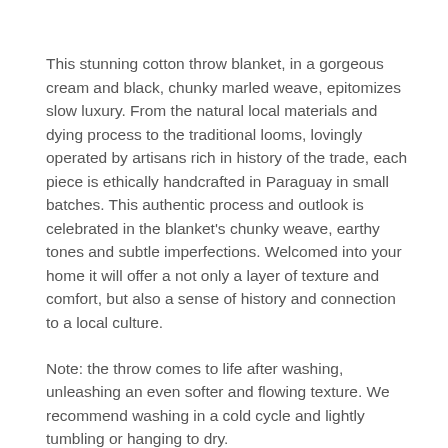This stunning cotton throw blanket, in a gorgeous cream and black, chunky marled weave, epitomizes slow luxury. From the natural local materials and dying process to the traditional looms, lovingly operated by artisans rich in history of the trade, each piece is ethically handcrafted in Paraguay in small batches. This authentic process and outlook is celebrated in the blanket's chunky weave, earthy tones and subtle imperfections. Welcomed into your home it will offer a not only a layer of texture and comfort, but also a sense of history and connection to a local culture.
Note: the throw comes to life after washing, unleashing an even softer and flowing texture. We recommend washing in a cold cycle and lightly tumbling or hanging to dry.
Fair-trade, ethically and locally sourced materials,